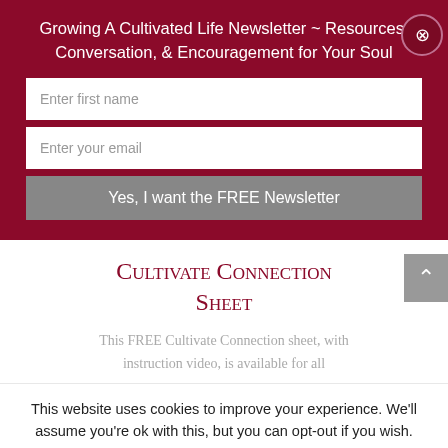Growing A Cultivated Life Newsletter ~ Resources, Conversation, & Encouragement for Your Soul
Enter first name
Enter your email
Yes, I want the FREE Newsletter
Cultivate Connection Sheet
This FREE Cultivate Connection sheet, with instruction video, is available for all
This website uses cookies to improve your experience. We'll assume you're ok with this, but you can opt-out if you wish.
Accept  Read More
Share This